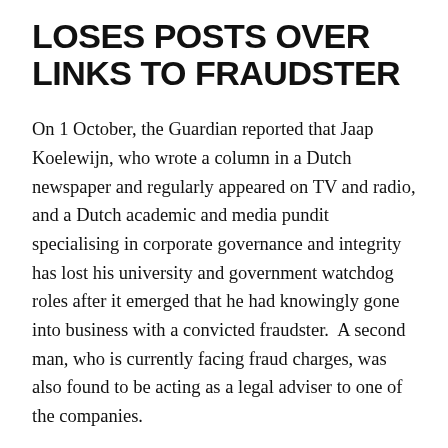LOSES POSTS OVER LINKS TO FRAUDSTER
On 1 October, the Guardian reported that Jaap Koelewijn, who wrote a column in a Dutch newspaper and regularly appeared on TV and radio, and a Dutch academic and media pundit specialising in corporate governance and integrity has lost his university and government watchdog roles after it emerged that he had knowingly gone into business with a convicted fraudster.  A second man, who is currently facing fraud charges, was also found to be acting as a legal adviser to one of the companies.